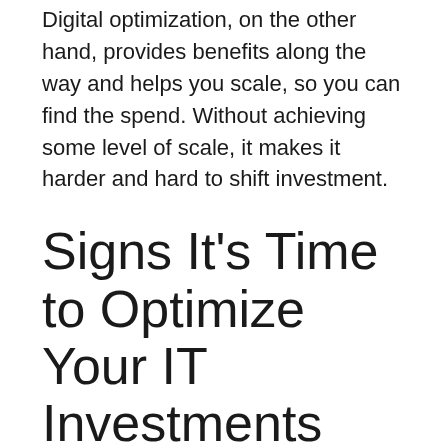Digital optimization, on the other hand, provides benefits along the way and helps you scale, so you can find the spend. Without achieving some level of scale, it makes it harder and hard to shift investment.
Signs It’s Time to Optimize Your IT Investments
The best technology works for